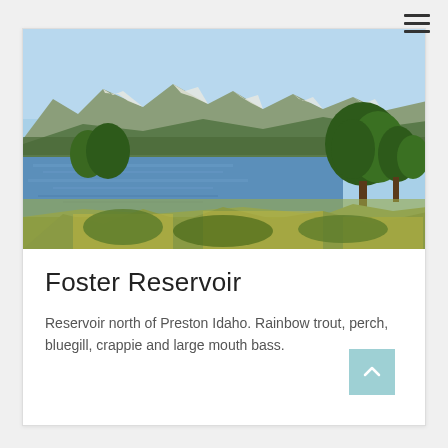[Figure (photo): Outdoor scenic photo of Foster Reservoir near Preston, Idaho. A calm blue lake in the center with green meadow grasses in the foreground, trees on the right, and snow-capped mountains in the background under a clear blue sky.]
Foster Reservoir
Reservoir north of Preston Idaho. Rainbow trout, perch, bluegill, crappie and large mouth bass.